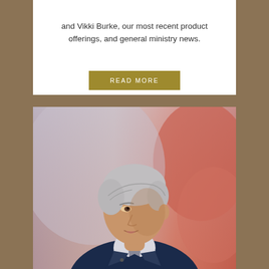and Vikki Burke, our most recent product offerings, and general ministry news.
READ MORE
[Figure (photo): A middle-aged man with silver/grey hair wearing a dark navy blue suit and grey tie, seated and speaking, with an orange and purple blurred background]